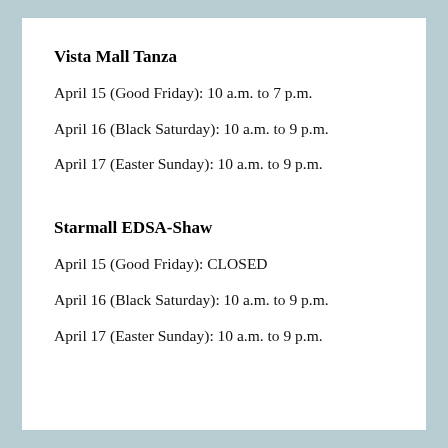Vista Mall Tanza
April 15 (Good Friday): 10 a.m. to 7 p.m.
April 16 (Black Saturday): 10 a.m. to 9 p.m.
April 17 (Easter Sunday): 10 a.m. to 9 p.m.
Starmall EDSA-Shaw
April 15 (Good Friday): CLOSED
April 16 (Black Saturday): 10 a.m. to 9 p.m.
April 17 (Easter Sunday): 10 a.m. to 9 p.m.